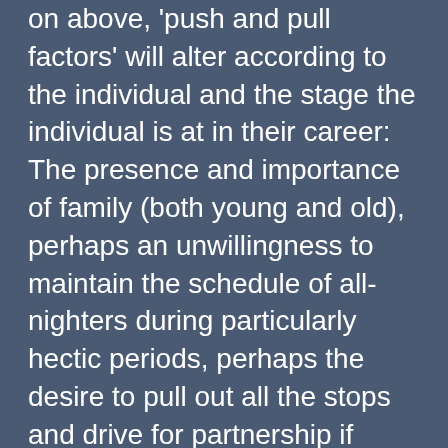on above, 'push and pull factors' will alter according to the individual and the stage the individual is at in their career: The presence and importance of family (both young and old), perhaps an unwillingness to maintain the schedule of all-nighters during particularly hectic periods, perhaps the desire to pull out all the stops and drive for partnership if such a prospect is remote in their current position.
Every change in a legal career requires careful research and consideration. Moving jobs from a position of security without specific reasons into a firm or a role that is unfamiliar can be disastrous. The market remains extremely competitive and underperformers will not endure. An excessive number of moves (either voluntary or forced) in a